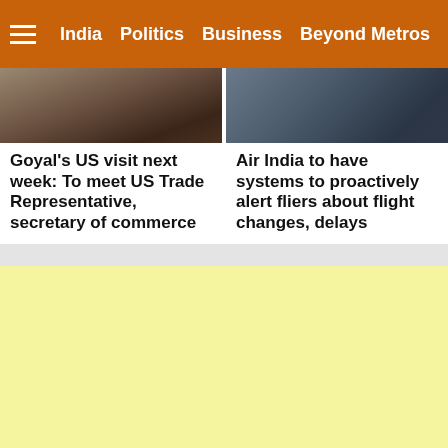India  Politics  Business  Beyond Metros
[Figure (photo): Two photos side by side: left shows a person (partial), right shows an aerial or outdoor scene]
Goyal's US visit next week: To meet US Trade Representative, secretary of commerce
Air India to have systems to proactively alert fliers about flight changes, delays